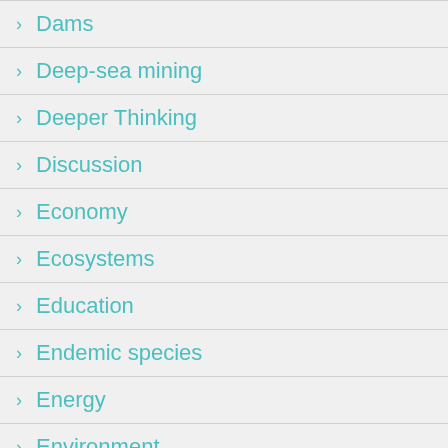Dams
Deep-sea mining
Deeper Thinking
Discussion
Economy
Ecosystems
Education
Endemic species
Energy
Environment